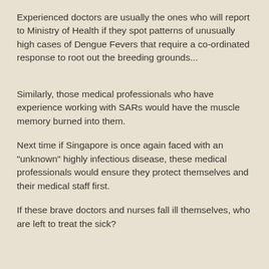Experienced doctors are usually the ones who will report to Ministry of Health if they spot patterns of unusually high cases of Dengue Fevers that require a co-ordinated response to root out the breeding grounds...
Similarly, those medical professionals who have experience working with SARs would have the muscle memory burned into them.
Next time if Singapore is once again faced with an "unknown" highly infectious disease, these medical professionals would ensure they protect themselves and their medical staff first.
If these brave doctors and nurses fall ill themselves, who are left to treat the sick?